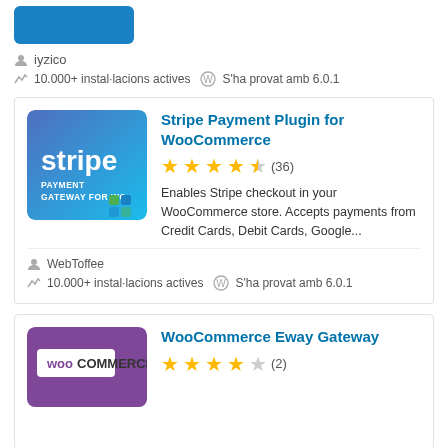[Figure (screenshot): Top portion of a plugin card showing a blue logo image (cropped)]
iyzico
10.000+ instal·lacions actives  S'ha provat amb 6.0.1
[Figure (logo): Stripe Payment Gateway for WC logo - blue gradient square with Stripe wordmark and payment gateway icons]
Stripe Payment Plugin for WooCommerce
★★★★½ (36)
Enables Stripe checkout in your WooCommerce store. Accepts payments from Credit Cards, Debit Cards, Google...
WebToffee
10.000+ instal·lacions actives  S'ha provat amb 6.0.1
[Figure (logo): WooCommerce Eway Gateway logo - purple square with WooCommerce wordmark]
WooCommerce Eway Gateway
★★★★☆ (2)